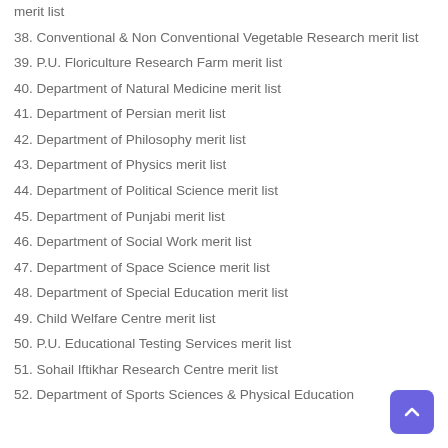merit list
38. Conventional & Non Conventional Vegetable Research merit list
39. P.U. Floriculture Research Farm merit list
40. Department of Natural Medicine merit list
41. Department of Persian merit list
42. Department of Philosophy merit list
43. Department of Physics merit list
44. Department of Political Science merit list
45. Department of Punjabi merit list
46. Department of Social Work merit list
47. Department of Space Science merit list
48. Department of Special Education merit list
49. Child Welfare Centre merit list
50. P.U. Educational Testing Services merit list
51. Sohail Iftikhar Research Centre merit list
52. Department of Sports Sciences & Physical Education